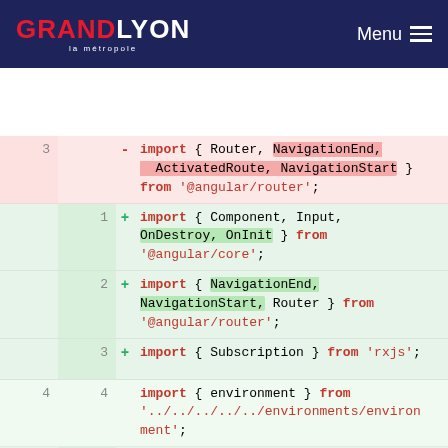GRANDLYON la métropole — Menu
[Figure (screenshot): Code diff view showing TypeScript import statements. Removed line (red): import { Router, NavigationEnd, ActivatedRoute, NavigationStart } from '@angular/router'; Added lines (green): 1. import { Component, Input, OnDestroy, OnInit } from '@angular/core'; 2. import { NavigationEnd, NavigationStart, Router } from '@angular/router'; 3. import { Subscription } from 'rxjs'; Unchanged: 4/4. import { environment } from '../../../../../environments/environment'; Added: 5. import { ElasticsearchService } from '../../../../elasticsearch/services/elasticsearch.service'; 6. import { AppRoutes } from '../../../../routes'; Removed/unchanged: 5/7. import { UserService } from]